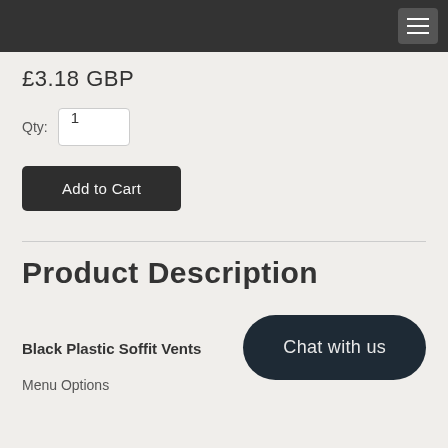£3.18 GBP
Qty: 1
Add to Cart
Product Description
Black Plastic Soffit Vents
Menu Options
Chat with us